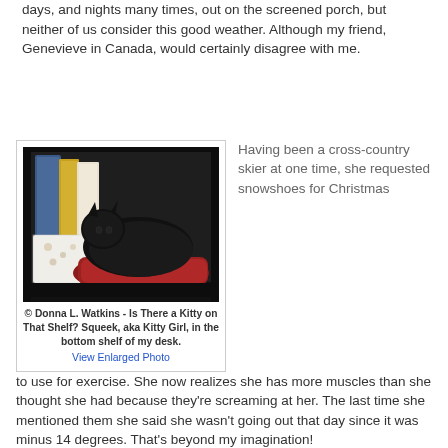days, and nights many times, out on the screened porch, but neither of us consider this good weather.  Although my friend, Genevieve in Canada, would certainly disagree with me.
[Figure (photo): A black cat (Squeek, aka Kitty Girl) curled up on a red cushion on the bottom shelf of a desk, with books nearby. Dark shelving visible around the cat.]
© Donna L. Watkins - Is There a Kitty on That Shelf? Squeek, aka Kitty Girl, in the bottom shelf of my desk.
View Enlarged Photo
Having been a cross-country skier at one time, she requested snowshoes for Christmas to use for exercise.  She now realizes she has more muscles than she thought she had because they're screaming at her.  The last time she mentioned them she said she wasn't going out that day since it was minus 14 degrees.  That's beyond my imagination!